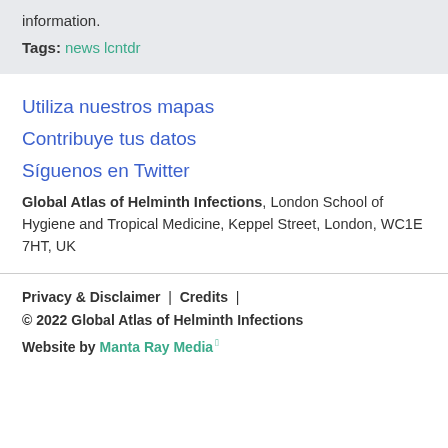information.
Tags: news lcntdr
Utiliza nuestros mapas
Contribuye tus datos
Síguenos en Twitter
Global Atlas of Helminth Infections, London School of Hygiene and Tropical Medicine, Keppel Street, London, WC1E 7HT, UK
Privacy & Disclaimer | Credits | © 2022 Global Atlas of Helminth Infections
Website by Manta Ray Media